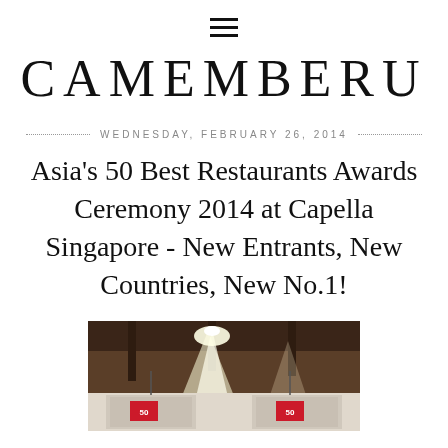≡
CAMEMBERU
WEDNESDAY, FEBRUARY 26, 2014
Asia's 50 Best Restaurants Awards Ceremony 2014 at Capella Singapore - New Entrants, New Countries, New No.1!
[Figure (photo): Interior of awards ceremony venue with spotlights and Asia's 50 Best Restaurants banners visible]